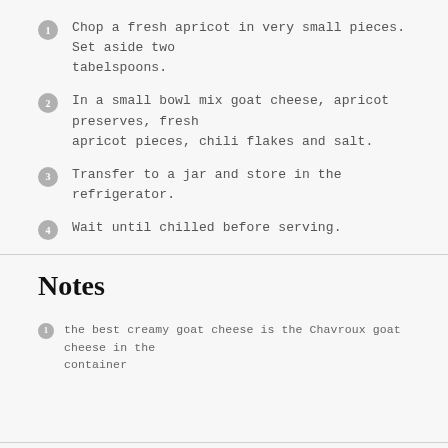Chop a fresh apricot in very small pieces. Set aside two tabelspoons.
In a small bowl mix goat cheese, apricot preserves, fresh apricot pieces, chili flakes and salt.
Transfer to a jar and store in the refrigerator.
Wait until chilled before serving.
Notes
the best creamy goat cheese is the Chavroux goat cheese in the container
Nutrition